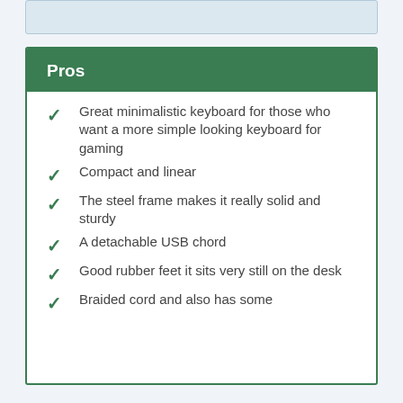Pros
Great minimalistic keyboard for those who want a more simple looking keyboard for gaming
Compact and linear
The steel frame makes it really solid and sturdy
A detachable USB chord
Good rubber feet it sits very still on the desk
Braided cord and also has some